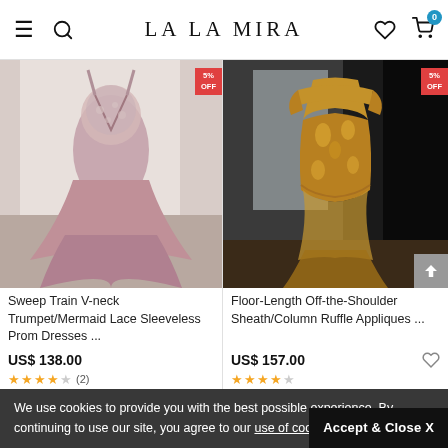LALA MIRA
[Figure (photo): Pink mermaid/trumpet prom dress with lace bodice and sweep train, displayed on a model from behind]
[Figure (photo): Gold floor-length off-the-shoulder sheath/column dress with appliques and ruffle detail]
Sweep Train V-neck Trumpet/Mermaid Lace Sleeveless Prom Dresses ...
Floor-Length Off-the-Shoulder Sheath/Column Ruffle Appliques ...
US$ 138.00
US$ 157.00
We use cookies to provide you with the best possible experience. By continuing to use our site, you agree to our use of cookies.
Accept & Close X